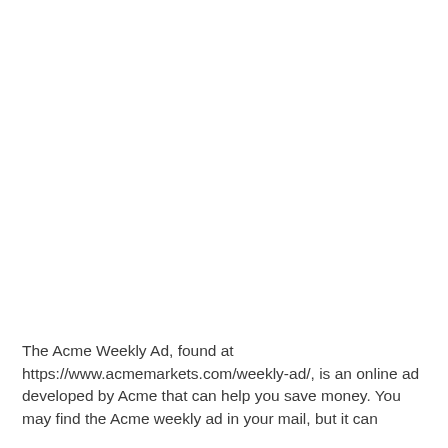The Acme Weekly Ad, found at https://www.acmemarkets.com/weekly-ad/, is an online ad developed by Acme that can help you save money. You may find the Acme weekly ad in your mail, but it can